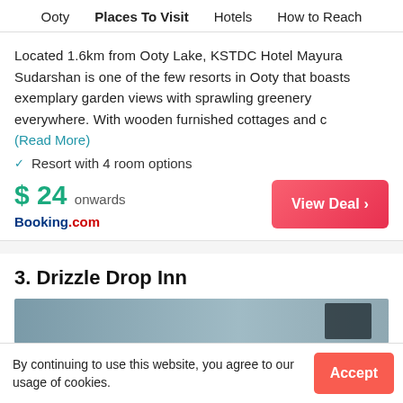Ooty   Places To Visit   Hotels   How to Reach
Located 1.6km from Ooty Lake, KSTDC Hotel Mayura Sudarshan is one of the few resorts in Ooty that boasts exemplary garden views with sprawling greenery everywhere. With wooden furnished cottages and c
(Read More)
Resort with 4 room options
$ 24 onwards
Booking.com
View Deal >
3. Drizzle Drop Inn
[Figure (photo): Partial view of Drizzle Drop Inn hotel exterior]
By continuing to use this website, you agree to our usage of cookies.
Accept